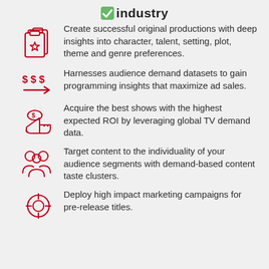industry
Create successful original productions with deep insights into character, talent, setting, plot, theme and genre preferences.
Harnesses audience demand datasets to gain programming insights that maximize ad sales.
Acquire the best shows with the highest expected ROI by leveraging global TV demand data.
Target content to the individuality of your audience segments with demand-based content taste clusters.
Deploy high impact marketing campaigns for pre-release titles.